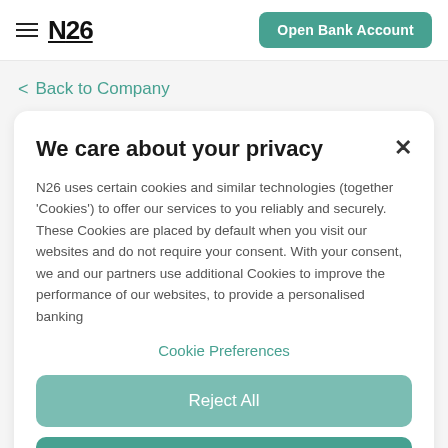N26 | Open Bank Account
< Back to Company
We care about your privacy
N26 uses certain cookies and similar technologies (together 'Cookies') to offer our services to you reliably and securely. These Cookies are placed by default when you visit our websites and do not require your consent. With your consent, we and our partners use additional Cookies to improve the performance of our websites, to provide a personalised banking
Cookie Preferences
Reject All